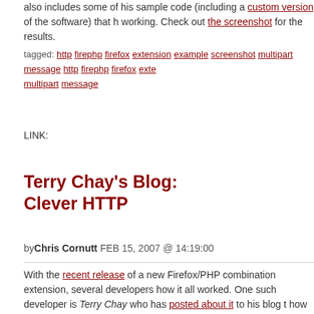also includes some of his sample code (including a custom version of the software) that h working. Check out the screenshot for the results.
tagged: http firephp firefox extension example screenshot multipart message http firephp firefox exte multipart message
LINK:
Terry Chay's Blog:
Clever HTTP
byChris Cornutt FEB 15, 2007 @ 14:19:00
With the recent release of a new Firefox/PHP combination extension, several developers how it all worked. One such developer is Terry Chay who has posted about it to his blog t how it all fits together.
The standard way of debugging in PHP involves just echoing shit to the screen. is a scripting language makes this an excellent way of debugging on the web. B when doing this breaks your site?
That’s where FirePHP comes in - it sends along a special request from your PHP script (a code you insert) to include debugging information inside a different part of a "multipart/mi also includes some of his sample code (including a custom version of the software) that h working. Check out the screenshot for the results.